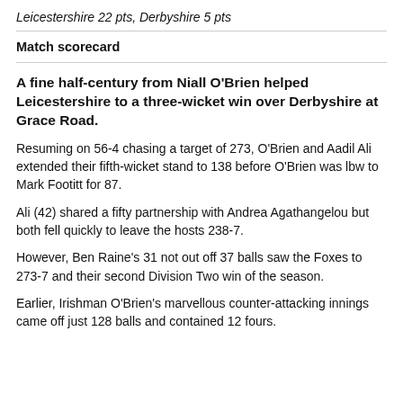Leicestershire 22 pts, Derbyshire 5 pts
Match scorecard
A fine half-century from Niall O'Brien helped Leicestershire to a three-wicket win over Derbyshire at Grace Road.
Resuming on 56-4 chasing a target of 273, O'Brien and Aadil Ali extended their fifth-wicket stand to 138 before O'Brien was lbw to Mark Footitt for 87.
Ali (42) shared a fifty partnership with Andrea Agathangelou but both fell quickly to leave the hosts 238-7.
However, Ben Raine's 31 not out off 37 balls saw the Foxes to 273-7 and their second Division Two win of the season.
Earlier, Irishman O'Brien's marvellous counter-attacking innings came off just 128 balls and contained 12 fours.